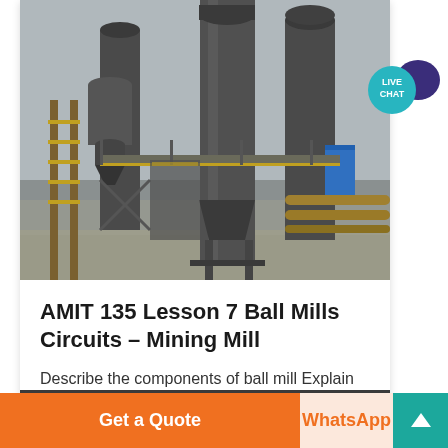[Figure (photo): Industrial mining/processing facility with large metal silos, conveyor structures, and steel framework. Gray overcast sky background. A blue container visible at right.]
AMIT 135 Lesson 7 Ball Mills Circuits – Mining Mill
Describe the components of ball mill Explain their understanding of ball mill operation Explain the role of critical...
[Figure (photo): Partial view of industrial mining equipment, dark machinery visible at bottom of card.]
[Figure (other): Live Chat speech bubble badge with teal circle and dark purple speech bubble icon]
Get a Quote
WhatsApp